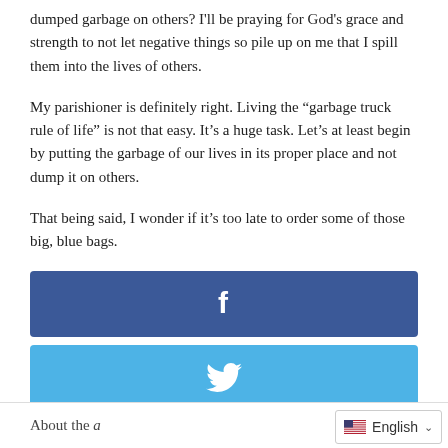dumped garbage on others? I'll be praying for God's grace and strength to not let negative things so pile up on me that I spill them into the lives of others.
My parishioner is definitely right. Living the “garbage truck rule of life” is not that easy. It’s a huge task. Let’s at least begin by putting the garbage of our lives in its proper place and not dump it on others.
That being said, I wonder if it’s too late to order some of those big, blue bags.
[Figure (other): Facebook share button (dark blue with white f icon)]
[Figure (other): Twitter share button (light blue with white bird icon)]
[Figure (other): Email share button (black with white envelope icon)]
About the …
English